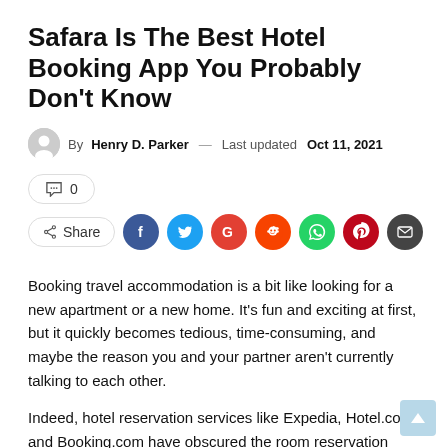Safara Is The Best Hotel Booking App You Probably Don't Know
By Henry D. Parker — Last updated Oct 11, 2021
💬 0
Share
Booking travel accommodation is a bit like looking for a new apartment or a new home. It's fun and exciting at first, but it quickly becomes tedious, time-consuming, and maybe the reason you and your partner aren't currently talking to each other.
Indeed, hotel reservation services like Expedia, Hotel.com, and Booking.com have obscured the room reservation process by